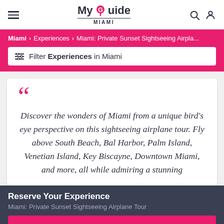MyGuide MIAMI
Miami > Experiences > Miami: Private Sunset Sightseeing Airpla...
Filter Experiences in Miami
"Discover the wonders of Miami from a unique bird's eye perspective on this sightseeing airplane tour. Fly above South Beach, Bal Harbor, Palm Island, Venetian Island, Key Biscayne, Downtown Miami, and more, all while admiring a stunning
Reserve Your Experience
Miami: Private Sunset Sightseeing Airplane Tour
BOOK NOW